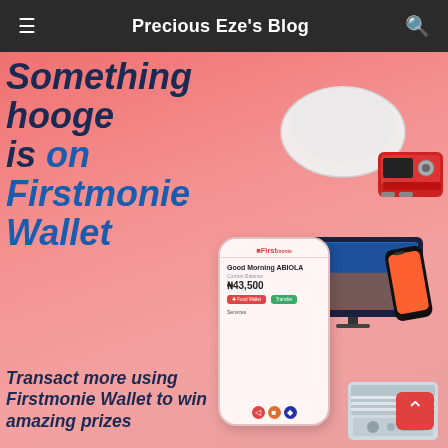Precious Eze's Blog
[Figure (infographic): Firstmonie Wallet promotional banner with pink/coral background. Large bold italic text reads 'Something hooge is on Firstmonie Wallet'. Below that: 'Transact more using Firstmonie Wallet to win amazing prizes'. Right side shows collage of prizes: a white pillow/bag, a red generator, a flat screen TV, a smartphone, and an air conditioner unit. Center-bottom shows a phone app mockup with 'Good Morning ABIOLA', 'Current Balance N43,500' displayed.]